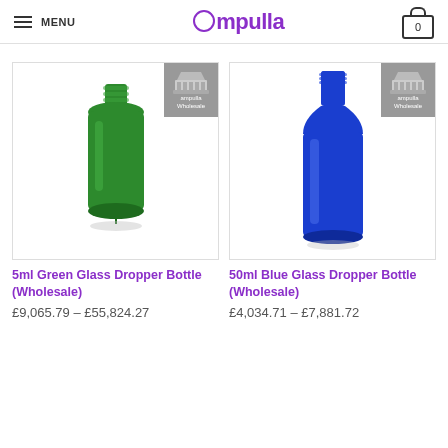MENU | Ampulla | 0
[Figure (photo): 5ml Green Glass Dropper Bottle product photo with Ampulla Wholesale badge]
5ml Green Glass Dropper Bottle (Wholesale)
£9,065.79 – £55,824.27
[Figure (photo): 50ml Blue Glass Dropper Bottle product photo with Ampulla Wholesale badge]
50ml Blue Glass Dropper Bottle (Wholesale)
£4,034.71 – £7,881.72